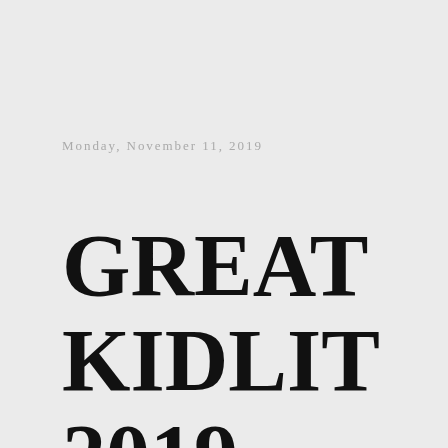Monday, November 11, 2019
GREAT KIDLIT 2019 ___ Meet Ong, he says kids should develop a